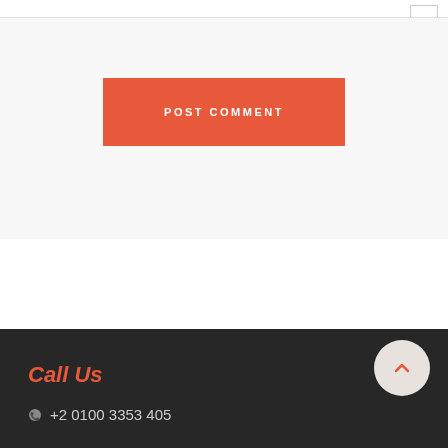[Figure (other): Checkbox icon in top right corner]
POST COMMENT
Call Us
+2 0100 3353 405